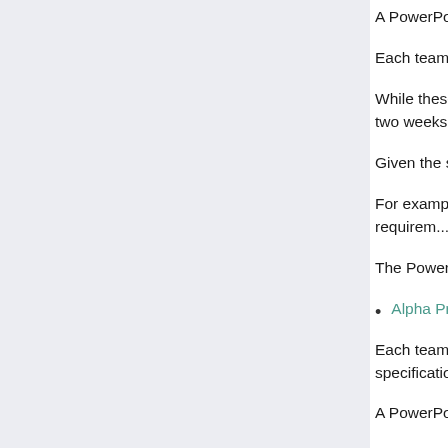A PowerPoint template is provided on the Dow...
Each team also submits a completed first draft...
While these presentations are made over the c... their materials and be be ready to present on th... two weeks is posted on our All-Hands Meetings... presentations is business casual.
Given the short time frame, the project plans ar... to update during the semester.
For examples of project plan presentations, visi... links from the Archives page. Note that requirem...
The PowerPoint slide deck and the Word docum...
Alpha Presentations
Each team gives a formal presentation demons... the alpha presentation is to demonstrate that th... specifications and on time. While the software i... risks should be mitigated.
A PowerPoint template is provided on the Down...
While these presentations are made over the c... their materials and be be ready to present on th... two weeks is posted on our All-Hands Meetings...
Corporate clients are invited to attend alpha pre... we can work together to schedule it.